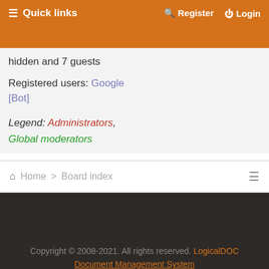Quick links   Register   Login
hidden and 7 guests
Registered users: Google [Bot]
Legend: Administrators, Global moderators
Home > Board index
Copyright © 2008-2021. All rights reserved. LogicalDOC Document Management System